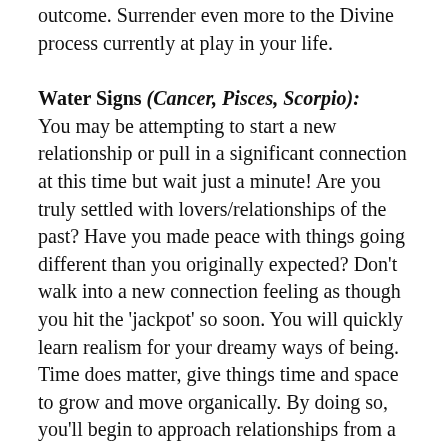outcome. Surrender even more to the Divine process currently at play in your life.
Water Signs (Cancer, Pisces, Scorpio):
You may be attempting to start a new relationship or pull in a significant connection at this time but wait just a minute! Are you truly settled with lovers/relationships of the past? Have you made peace with things going different than you originally expected? Don't walk into a new connection feeling as though you hit the 'jackpot' so soon. You will quickly learn realism for your dreamy ways of being. Time does matter, give things time and space to grow and move organically. By doing so, you'll begin to approach relationships from a much more grounded place leaving less room for uncertainty. That's what you're trying to get away from anyway, right? So take your time and study the emotions and insights that time presents. Enjoy the ride to the new beginning, savor every step.